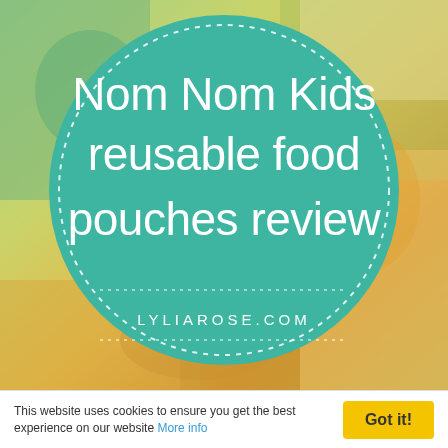[Figure (illustration): Background photo of colorful illustrated food pouches/packages with cartoon animal artwork. Over the photo is a large teal/turquoise circle with a dotted white border containing white text: 'Nom Nom Kids reusable food pouches review' and 'LYLIAROSE.COM' at the bottom of the circle.]
This website uses cookies to ensure you get the best experience on our website More info